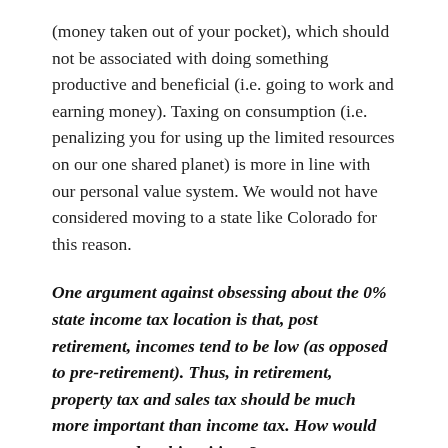(money taken out of your pocket), which should not be associated with doing something productive and beneficial (i.e. going to work and earning money). Taxing on consumption (i.e. penalizing you for using up the limited resources on our one shared planet) is more in line with our personal value system. We would not have considered moving to a state like Colorado for this reason.
One argument against obsessing about the 0% state income tax location is that, post retirement, incomes tend to be low (as opposed to pre-retirement). Thus, in retirement, property tax and sales tax should be much more important than income tax. How would you respond to this critique?